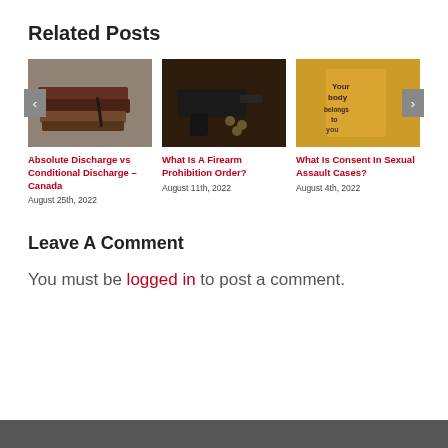Related Posts
[Figure (photo): Stack of books with a pen on a dark surface]
[Figure (photo): A handgun with bullets on a dark surface]
[Figure (photo): People with text written on their backs in yellow costumes]
Absolute Discharge vs Conditional Discharge – Canada
August 25th, 2022
What Is A Firearm Prohibition Order?
August 11th, 2022
What Is Consent In Sexual Assault Cases?
August 4th, 2022
Leave A Comment
You must be logged in to post a comment.